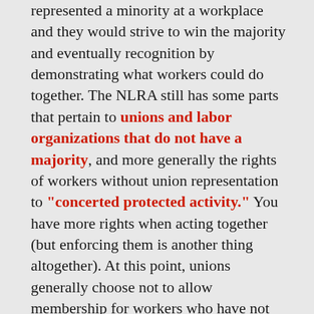represented a minority at a workplace and they would strive to win the majority and eventually recognition by demonstrating what workers could do together. The NLRA still has some parts that pertain to unions and labor organizations that do not have a majority, and more generally the rights of workers without union representation to "concerted protected activity." You have more rights when acting together (but enforcing them is another thing altogether). At this point, unions generally choose not to allow membership for workers who have not won a certification election. Many unions simply do not have a concept of anything other than a certified bargaining unit now. As unions have moved away from confrontation with employers to relying on the law and employers' goodwill, viewing themselves as simply servicing contracts, minority unions striving for